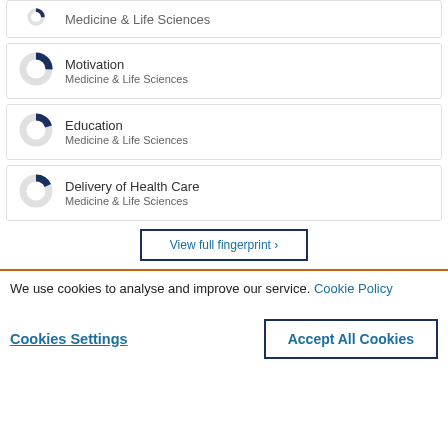[Figure (donut-chart): Partial donut chart icon for Medicine & Life Sciences (top clipped)]
[Figure (donut-chart): Donut chart for Motivation - Medicine & Life Sciences, approximately 25% filled dark navy]
Motivation
Medicine & Life Sciences
[Figure (donut-chart): Donut chart for Education - Medicine & Life Sciences, approximately 20% filled dark navy]
Education
Medicine & Life Sciences
[Figure (donut-chart): Donut chart for Delivery of Health Care - Medicine & Life Sciences, approximately 18% filled dark navy]
Delivery of Health Care
Medicine & Life Sciences
View full fingerprint ›
We use cookies to analyse and improve our service. Cookie Policy
Cookies Settings
Accept All Cookies